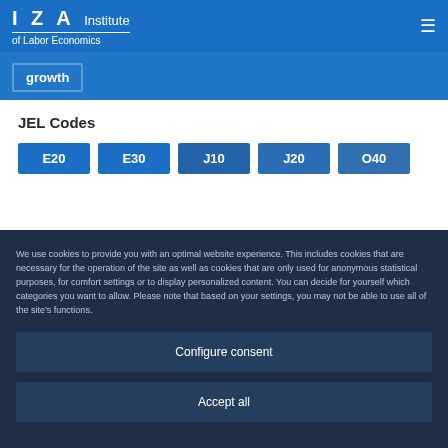IZA Institute of Labor Economics
growth
JEL Codes
E20
E30
J10
J20
O40
We use cookies to provide you with an optimal website experience. This includes cookies that are necessary for the operation of the site as well as cookies that are only used for anonymous statistical purposes, for comfort settings or to display personalized content. You can decide for yourself which categories you want to allow. Please note that based on your settings, you may not be able to use all of the site’s functions.
Configure consent
Accept all